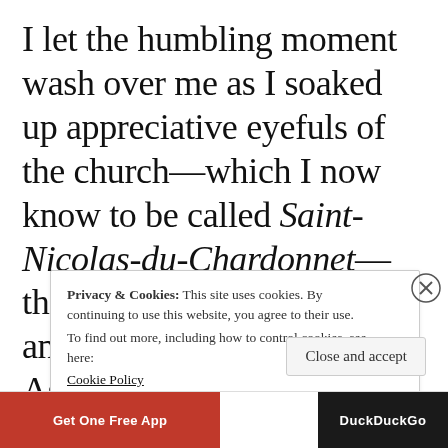I let the humbling moment wash over me as I soaked up appreciative eyefuls of the church—which I now know to be called Saint-Nicolas-du-Chardonnet—that lay just beyond my tea and my new grammar book. As pedestrians passed with their glances
Privacy & Cookies: This site uses cookies. By continuing to use this website, you agree to their use. To find out more, including how to control cookies, see here: Cookie Policy
Close and accept